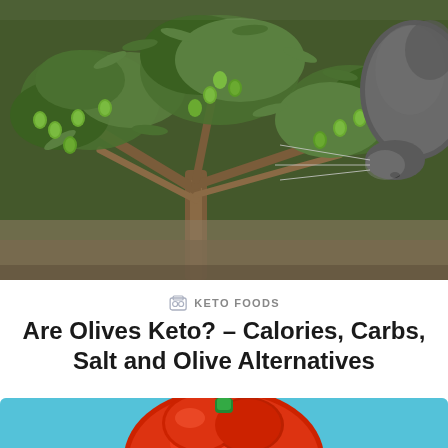[Figure (photo): Close-up photo of an olive tree branch with green olives and dark olive-green leaves, with a grey cat's nose and face partially visible on the right side sniffing the olives.]
KETO FOODS
Are Olives Keto? – Calories, Carbs, Salt and Olive Alternatives
[Figure (photo): Partial photo of a large red bell pepper on a light blue background, visible from the bottom of the page.]